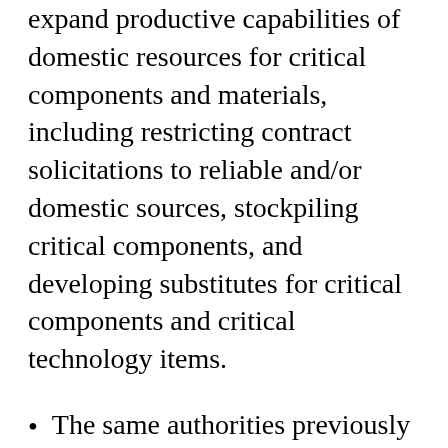expand productive capabilities of domestic resources for critical components and materials, including restricting contract solicitations to reliable and/or domestic sources, stockpiling critical components, and developing substitutes for critical components and critical technology items.
The same authorities previously delegated to the Secretary of HHS under EOs 13909 and 13910 (ie. DPA Sections 101 regarding priority in contracts and allocations, and 102 regarding hoarding of designated scarce materials) are delegated to the Secretary of DHS. The Secretary of DHS must consult with the heads of other executive departments and agencies, as appropriate, to determine the proper